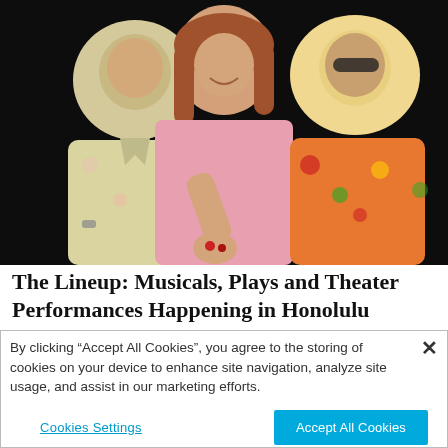[Figure (photo): Three people posing together against a dark background. A woman in the center wearing a pink top holds out her hand showing small red items. A man in a floral shirt stands on the left, and another man in a colorful floral shirt stands on the right.]
The Lineup: Musicals, Plays and Theater Performances Happening in Honolulu
By clicking “Accept All Cookies”, you agree to the storing of cookies on your device to enhance site navigation, analyze site usage, and assist in our marketing efforts.
Cookies Settings
Accept All Cookies